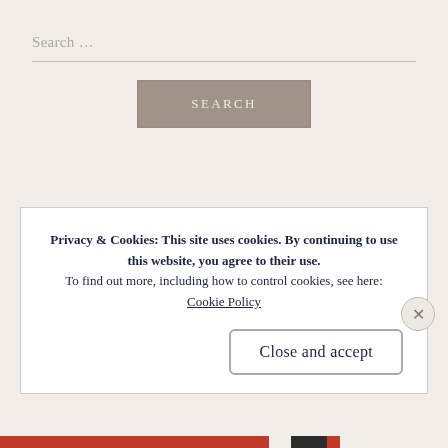[Figure (screenshot): Search input field with placeholder text 'Search ...']
[Figure (screenshot): SEARCH button with taupe/grey background]
RECENT COMMENTS
Robin on who and where and who
Privacy & Cookies: This site uses cookies. By continuing to use this website, you agree to their use.
To find out more, including how to control cookies, see here: Cookie Policy
[Figure (screenshot): Close and accept button]